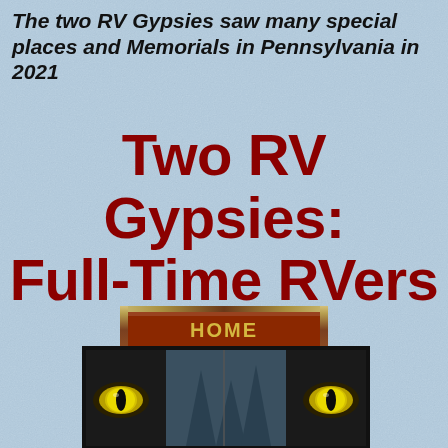The two RV Gypsies saw many special places and Memorials in Pennsylvania in 2021
Two RV Gypsies: Full-Time RVers
[Figure (illustration): Navigation button labeled HOME in gold text on a brownish-red rectangular button with metallic borders]
[Figure (photo): A horizontal banner with black border showing wolf eyes (yellow/green) peering through trees on left side and right side, with a forest scene in the center]
[Figure (illustration): Navigation button labeled GUESTBOOK in gold text on a brownish-red rectangular button with metallic borders]
[Figure (illustration): Navigation button labeled TOC in gold text on a brownish-red rectangular button with metallic borders]